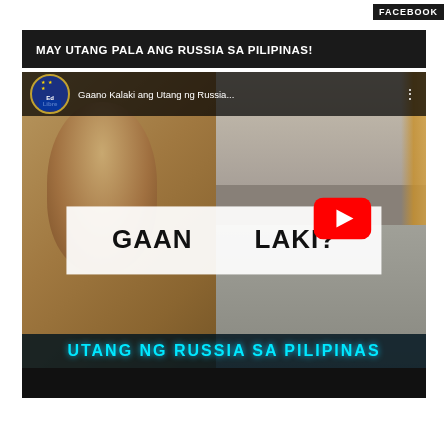FACEBOOK
MAY UTANG PALA ANG RUSSIA SA PILIPINAS!
[Figure (screenshot): YouTube video thumbnail screenshot showing a Filipino historical figure on the left side with black-and-white historical photos on the right. Overlay text reads 'GAANO KALAKI?' in bold black on white background with a YouTube play button. Below in cyan text: 'UTANG NG RUSSIA SA PILIPINAS'. The video is from the Ed Libre channel with a YouTube player interface.]